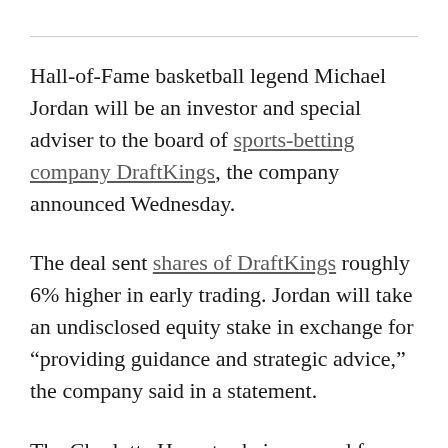Hall-of-Fame basketball legend Michael Jordan will be an investor and special adviser to the board of sports-betting company DraftKings, the company announced Wednesday.
The deal sent shares of DraftKings roughly 6% higher in early trading. Jordan will take an undisclosed equity stake in exchange for “providing guidance and strategic advice,” the company said in a statement.
The Charlotte Hornets chairman and former Bulls player will also inform DraftKings about...